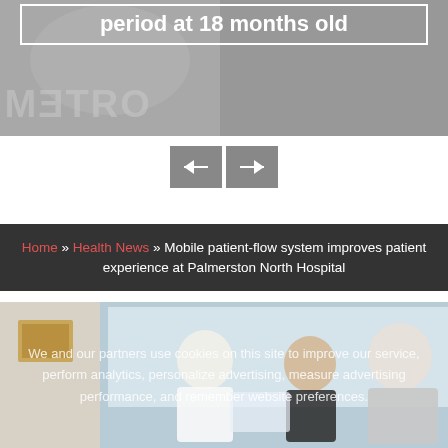[Figure (photo): Partial view of a banner image with grey overlay, showing mirrored METRO text watermark and a white-bordered text box with text 'period at 18 months old']
[Figure (screenshot): Navigation arrow buttons (left and right arrows) on white background]
Home » Health News » Mobile patient-flow system improves patient experience at Palmerston North Hospital
[Figure (photo): Photo of medical staff (nurse and doctors) looking at a tablet device in a hospital corridor, partially obscured by cookie consent overlay text]
We and our partners use cookies on this site to improve our service, perform analytics, personalize advertising, measure advertising performance, and remember website preferences.